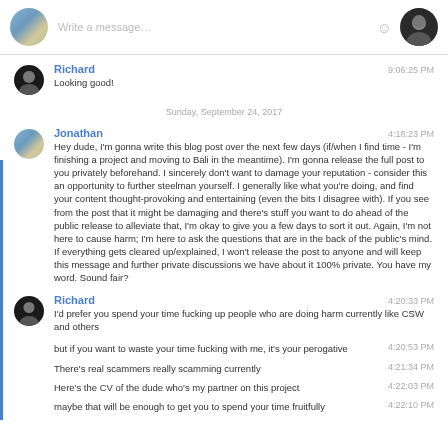[Figure (screenshot): Chat message input bar with landscape avatar on left, 'Write a message...' placeholder text, emoji icon, and person avatar on right]
Richard — 9:06:25 PM — Looking good!
Sunday, September 24, 2017
Jonathan — 4:18:23 PM — Hey dude, I'm gonna write this blog post over the next few days (if/when I find time - I'm finishing a project and moving to Bali in the meantime). I'm gonna release the full post to you privately beforehand. I sincerely don't want to damage your reputation - consider this an opportunity to further steelman yourself. I generally like what you're doing, and find your content thought-provoking and entertaining (even the bits I disagree with). If you see from the post that it might be damaging and there's stuff you want to do ahead of the public release to alleviate that, I'm okay to give you a few days to sort it out. Again, I'm not here to cause harm; I'm here to ask the questions that are in the back of the public's mind. If everything gets cleared up/explained, I won't release the post to anyone and will keep this message and further private discussions we have about it 100% private. You have my word. Sound fair?
Richard — 4:20:33 PM — I'd prefer you spend your time fucking up people who are doing harm currently like CSW and others
4:20:53 PM — but if you want to waste your time fucking with me, it's your perogative
4:21:34 PM — There's real scammers really scamming currently
4:22:03 PM — Here's the CV of the dude who's my partner on this project
4:22:10 PM — maybe that will be enough to get you to spend your time fruitfully